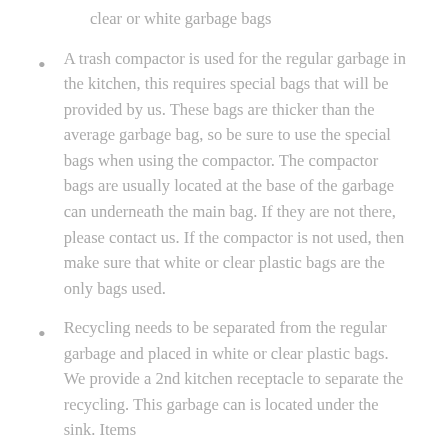clear or white garbage bags
A trash compactor is used for the regular garbage in the kitchen, this requires special bags that will be provided by us. These bags are thicker than the average garbage bag, so be sure to use the special bags when using the compactor. The compactor bags are usually located at the base of the garbage can underneath the main bag. If they are not there, please contact us. If the compactor is not used, then make sure that white or clear plastic bags are the only bags used.
Recycling needs to be separated from the regular garbage and placed in white or clear plastic bags. We provide a 2nd kitchen receptacle to separate the recycling. This garbage can is located under the sink. Items